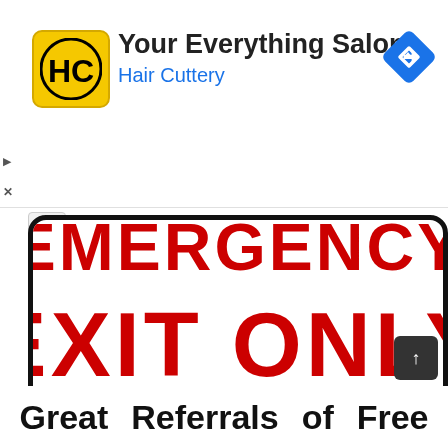[Figure (logo): Hair Cuttery advertisement banner with HC logo, 'Your Everything Salon' title, 'Hair Cuttery' subtitle in blue, and a blue navigation diamond icon on the right]
[Figure (photo): Emergency exit sign showing 'EMERGENCY EXIT ONLY' in large red bold letters on white background with black rounded-rectangle border. The top of the sign is cropped showing partial 'EMERGENCY' text.]
Free Emergency Exit Signs, Download Free Clip Art, Free Clip Art On - Free Printable Not An Exit Sign, Source Image: clipart-library.com
Great   Referrals   of   Free